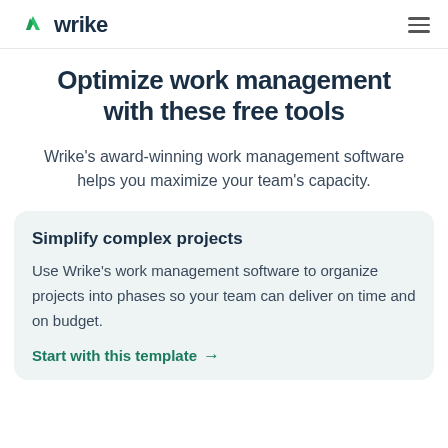wrike
Optimize work management with these free tools
Wrike's award-winning work management software helps you maximize your team's capacity.
Simplify complex projects
Use Wrike's work management software to organize projects into phases so your team can deliver on time and on budget.
Start with this template →